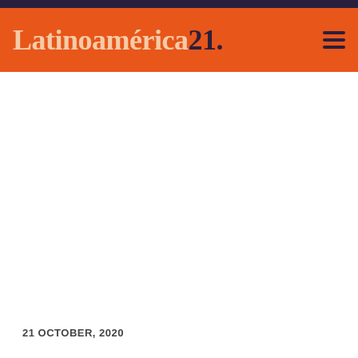Latinoamérica21.
21 OCTOBER, 2020